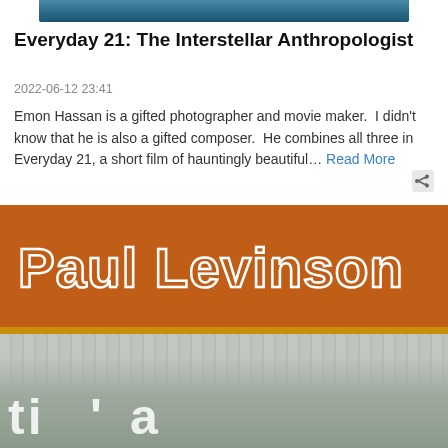[Figure (photo): Partial top banner image with teal/blue tones]
Everyday 21: The Interstellar Anthropologist
2022-06-12 23:41
Emon Hassan is a gifted photographer and movie maker.  I didn't know that he is also a gifted composer.  He combines all three in Everyday 21, a short film of hauntingly beautiful… Read More
[Figure (photo): Book cover or banner for Paul Levinson with orange background showing large white text 'Paul Levinson' and below a black-and-white photo of people]